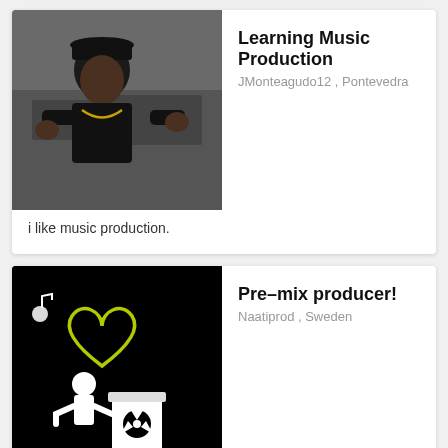[Figure (photo): Photo of a man in black jacket and cap sitting in front of music equipment]
Learning Music Production
JMonteagudo12 , Pontevedra
i like music production.
[Figure (illustration): Black background illustration of a figure with a heart symbol and radiation barrel, neon yellow-green outline]
Pre-mix producer!
Naatiprod , Sweden
Ill mix your unfinished projects to be prepared for mastring!
Recent Successes